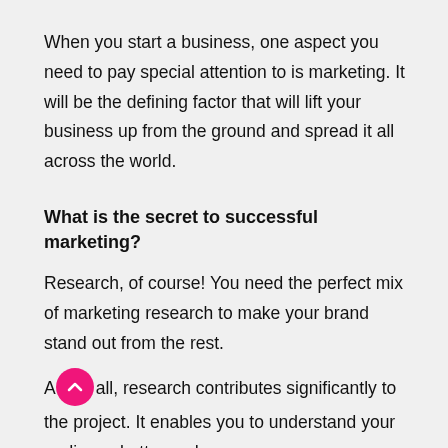When you start a business, one aspect you need to pay special attention to is marketing. It will be the defining factor that will lift your business up from the ground and spread it all across the world.
What is the secret to successful marketing?
Research, of course! You need the perfect mix of marketing research to make your brand stand out from the rest.
Above all, research contributes significantly to the project. It enables you to understand your audience better and